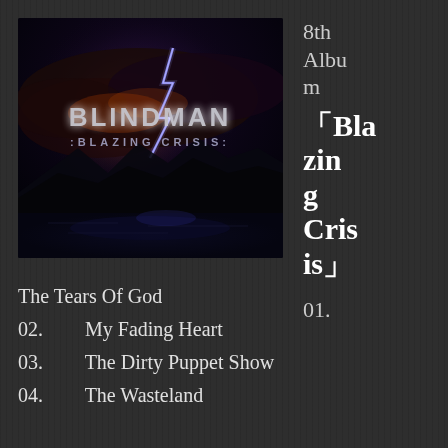[Figure (photo): Album cover for BLINDMAN 'Blazing Crisis' - dark dramatic sky with lightning, mountains and water reflection, band name and album title overlaid]
8th Album
「Blazing Crisis」
01.
01.    The Tears Of God
02.    My Fading Heart
03.    The Dirty Puppet Show
04.    The Wasteland